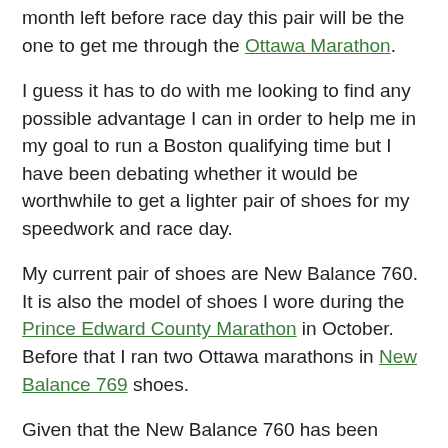month left before race day this pair will be the one to get me through the Ottawa Marathon.
I guess it has to do with me looking to find any possible advantage I can in order to help me in my goal to run a Boston qualifying time but I have been debating whether it would be worthwhile to get a lighter pair of shoes for my speedwork and race day.
My current pair of shoes are New Balance 760. It is also the model of shoes I wore during the Prince Edward County Marathon in October. Before that I ran two Ottawa marathons in New Balance 769 shoes.
Given that the New Balance 760 has been discontinued I will be getting a new model of shoe regardless of what I decide this weekend. The question is whether I just move up to the New Balance 860 and/or do I look into getting myself a lighter pair of shoes for my speedwork sessions and for race day.